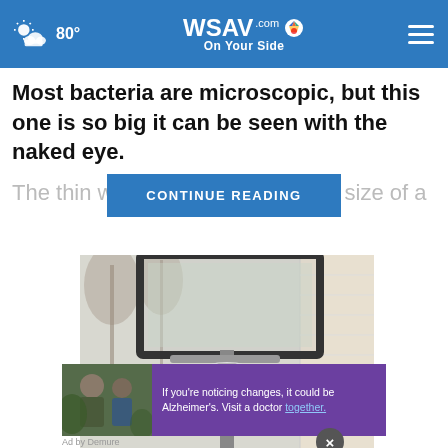WSAV.com On Your Side — 80°
Most bacteria are microscopic, but this one is so big it can be seen with the naked eye.
The thin white [CONTINUE READING] he size of a
[Figure (photo): Outdoor security camera mounted below a basketball hoop backboard on the exterior of a house.]
[Figure (photo): Advertisement showing two men outdoors. Text reads: If you're noticing changes, it could be Alzheimer's. Visit a doctor together.]